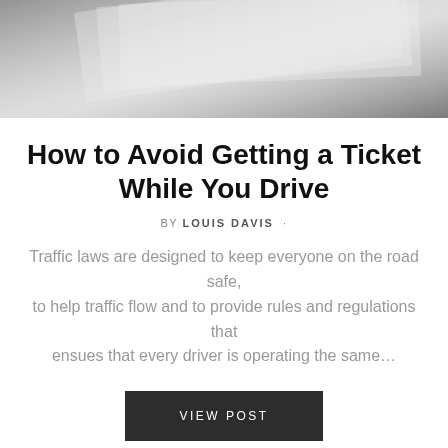[Figure (photo): Grayscale photo showing a close-up of what appears to be a book or document with light reflecting off its surface]
How to Avoid Getting a Ticket While You Drive
BY LOUIS DAVIS ·
Traffic laws are designed to keep everyone on the road safe, to help traffic flow and to provide rules and regulations that ensues that every driver is operating the same…
VIEW POST